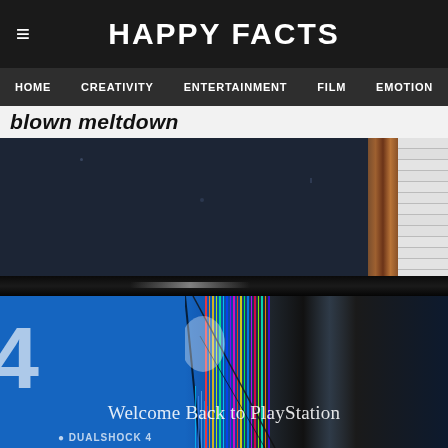HAPPY FACTS
HOME  CREATIVITY  ENTERTAINMENT  FILM  EMOTION
blown meltdown
[Figure (photo): Photo of a cracked PlayStation 4 TV screen showing the PS4 welcome screen 'Welcome Back to PlayStation' with severe damage/cracking in the center of the display, showing colorful vertical lines and fracture patterns. The TV is sitting in a darkened room.]